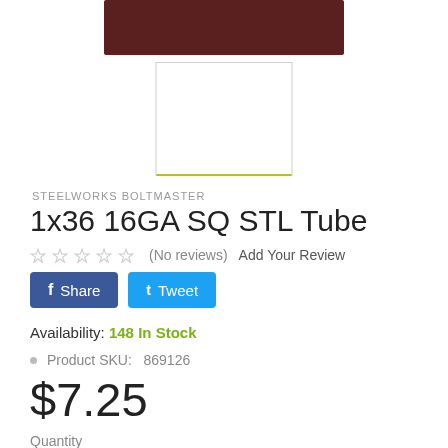[Figure (photo): Product image area showing a dark reddish-brown metal tube at top and a white thumbnail image box below with a yellow-green underline.]
STEELWORKS BOLTMASTER
1x36 16GA SQ STL Tube
☆ ☆ ☆ ☆ ☆ (No reviews)  Add Your Review
f Share   t Tweet
Availability: 148 In Stock
Product SKU:  869126
$7.25
Quantity